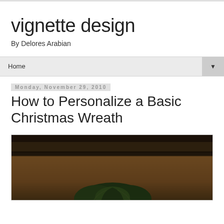vignette design
By Delores Arabian
Home
Monday, November 29, 2010
How to Personalize a Basic Christmas Wreath
[Figure (photo): Dark interior photograph showing a ceiling/entryway area with green Christmas wreath foliage visible at the bottom]